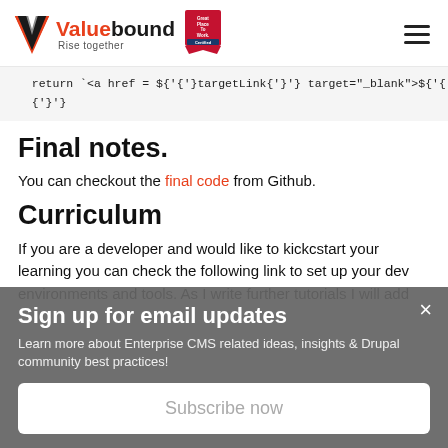Valuebound Rise together
return `<a href = ${targetLink} target="_blank">${lin
}
Final notes.
You can checkout the final code from Github.
Curriculum
If you are a developer and would like to kickcstart your learning you can check the following link to set up your dev environments and tools. As I write further tutorials I will add
Sign up for email updates
Learn more about Enterprise CMS related ideas, insights & Drupal community best practices!
Subscribe now